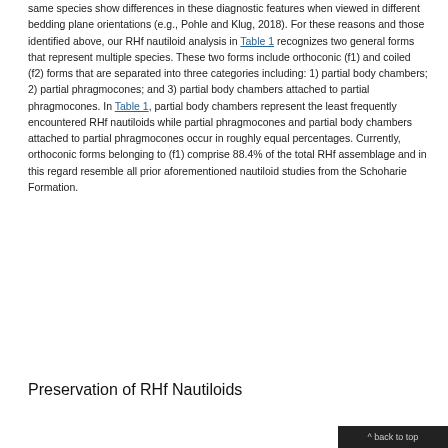same species show differences in these diagnostic features when viewed in different bedding plane orientations (e.g., Pohle and Klug, 2018). For these reasons and those identified above, our RHf nautiloid analysis in Table 1 recognizes two general forms that represent multiple species. These two forms include orthoconic (f1) and coiled (f2) forms that are separated into three categories including: 1) partial body chambers; 2) partial phragmocones; and 3) partial body chambers attached to partial phragmocones. In Table 1, partial body chambers represent the least frequently encountered RHf nautiloids while partial phragmocones and partial body chambers attached to partial phragmocones occur in roughly equal percentages. Currently, orthoconic forms belonging to (f1) comprise 88.4% of the total RHf assemblage and in this regard resemble all prior aforementioned nautiloid studies from the Schoharie Formation.
Preservation of RHf Nautiloids